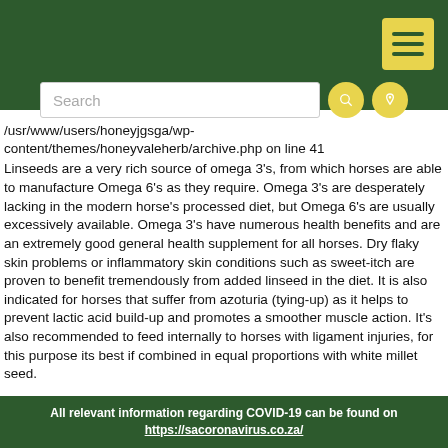Navigation header with search bar and menu button
/usr/www/users/honeyjgsga/wp-content/themes/honeyvaleherb/archive.php on line 41 Linseeds are a very rich source of omega 3's, from which horses are able to manufacture Omega 6's as they require. Omega 3's are desperately lacking in the modern horse's processed diet, but Omega 6's are usually excessively available. Omega 3's have numerous health benefits and are an extremely good general health supplement for all horses. Dry flaky skin problems or inflammatory skin conditions such as sweet-itch are proven to benefit tremendously from added linseed in the diet. It is also indicated for horses that suffer from azoturia (tying-up) as it helps to prevent lactic acid build-up and promotes a smoother muscle action. It's also recommended to feed internally to horses with ligament injuries, for this purpose its best if combined in equal proportions with white millet seed.
All relevant information regarding COVID-19 can be found on https://sacoronavirus.co.za/